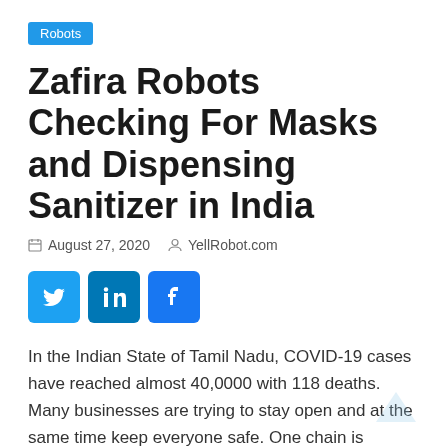Robots
Zafira Robots Checking For Masks and Dispensing Sanitizer in India
August 27, 2020   YellRobot.com
[Figure (other): Social sharing buttons: Twitter, LinkedIn, Facebook]
In the Indian State of Tamil Nadu, COVID-19 cases have reached almost 40,0000 with 118 deaths. Many businesses are trying to stay open and at the same time keep everyone safe. One chain is turning to robots.
Meet Zafira. She comes from robotics company Zafi Robots. The robot has been deployed to textile stores in Tamil Nadu's city of Tiruchirappalli to help keep